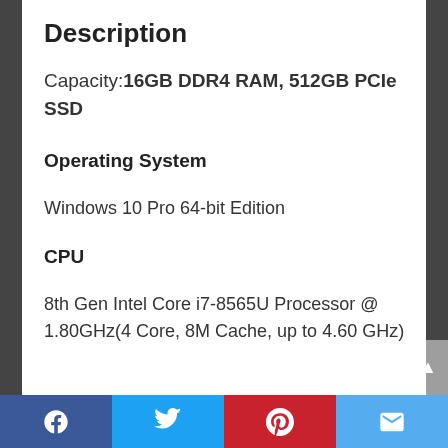Description
Capacity: 16GB DDR4 RAM, 512GB PCIe SSD
Operating System
Windows 10 Pro 64-bit Edition
CPU
8th Gen Intel Core i7-8565U Processor @ 1.80GHz(4 Core, 8M Cache, up to 4.60 GHz)
Social share bar: Facebook, Twitter, Pinterest, Email